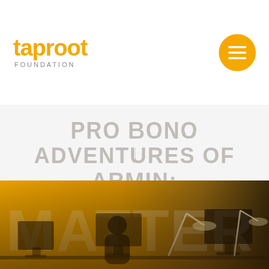taproot FOUNDATION
PRO BONO ADVENTURES OF ARMIN: WEEK 17 AND 18
[Figure (photo): Office scene with a person seated at a desk in front of computer monitors, with a yellow banner reading 'MATTER' in the background]